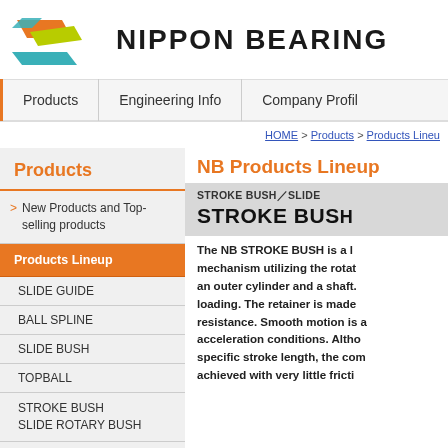[Figure (logo): Nippon Bearing logo with colorful geometric shapes (orange, yellow-green, teal) and the text NIPPON BEARING in bold dark letters]
Products | Engineering Info | Company Profile
HOME > Products > Products Lineup
Products
> New Products and Top-selling products
Products Lineup
SLIDE GUIDE
BALL SPLINE
SLIDE BUSH
TOPBALL
STROKE BUSH
SLIDE ROTARY BUSH
SPINDLE／SHAFT
NB Products Lineup
STROKE BUSH／SLIDE STROKE BUSH
The NB STROKE BUSH is a mechanism utilizing the rotation of an outer cylinder and a shaft. loading. The retainer is made resistance. Smooth motion is acceleration conditions. Altho specific stroke length, the com achieved with very little fricti